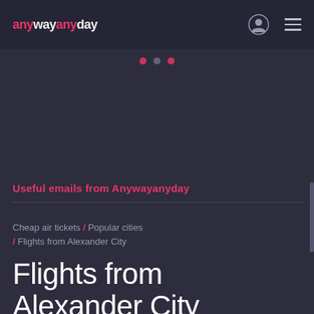anywayanyday
Useful emails from Anywayanyday
Cheap air tickets / Popular cities / Flights from Alexander City
Flights from Alexander City
3 minutes to find